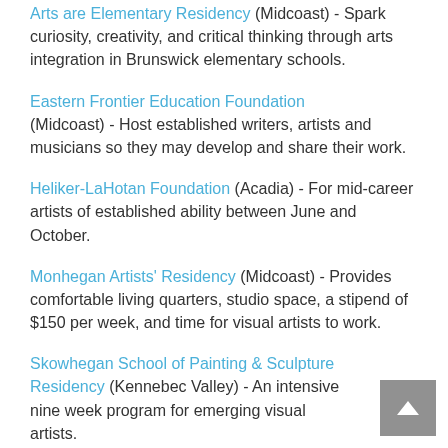Arts are Elementary Residency (Midcoast) - Spark curiosity, creativity, and critical thinking through arts integration in Brunswick elementary schools.
Eastern Frontier Education Foundation (Midcoast) - Host established writers, artists and musicians so they may develop and share their work.
Heliker-LaHotan Foundation (Acadia) - For mid-career artists of established ability between June and October.
Monhegan Artists' Residency (Midcoast) - Provides comfortable living quarters, studio space, a stipend of $150 per week, and time for visual artists to work.
Skowhegan School of Painting & Sculpture Residency (Kennebec Valley) - An intensive nine week program for emerging visual artists.